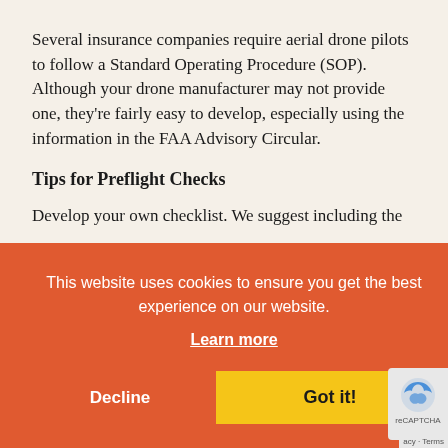Several insurance companies require aerial drone pilots to follow a Standard Operating Procedure (SOP). Although your drone manufacturer may not provide one, they're fairly easy to develop, especially using the information in the FAA Advisory Circular.
Tips for Preflight Checks
Develop your own checklist.  We suggest including the following...
[Figure (screenshot): Cookie consent overlay banner with orange background. Text reads: 'This website uses cookies to ensure you get the best experience on our website.' with a 'Learn more' link and two buttons: 'Decline' and 'Got it!'. A reCAPTCHA badge is visible in the bottom-right corner with 'acy - Terms' text.]